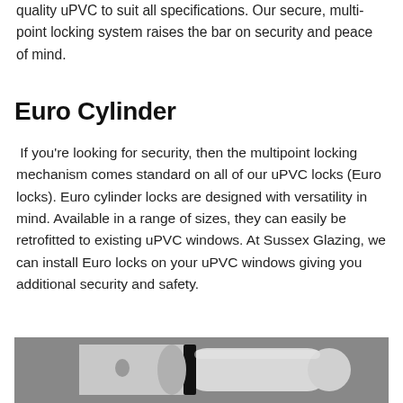quality uPVC to suit all specifications. Our secure, multi-point locking system raises the bar on security and peace of mind.
Euro Cylinder
If you're looking for security, then the multipoint locking mechanism comes standard on all of our uPVC locks (Euro locks). Euro cylinder locks are designed with versatility in mind. Available in a range of sizes, they can easily be retrofitted to existing uPVC windows. At Sussex Glazing, we can install Euro locks on your uPVC windows giving you additional security and safety.
[Figure (photo): Close-up black and white photograph of a euro cylinder lock, showing the cylindrical metal barrel with a black ring/groove detail.]